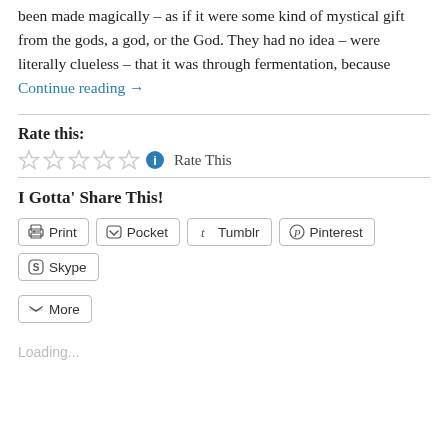been made magically – as if it were some kind of mystical gift from the gods, a god, or the God. They had no idea – were literally clueless – that it was through fermentation, because Continue reading →
Rate this:
[Figure (other): Five empty star rating icons followed by a blue info icon and 'Rate This' text]
I Gotta' Share This!
[Figure (other): Share buttons: Print, Pocket, Tumblr, Pinterest, Skype, More]
Loading...